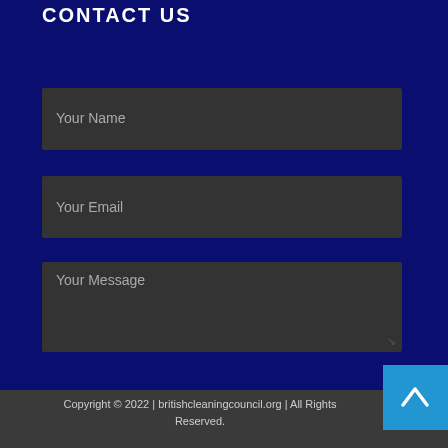CONTACT US
Your Name
Your Email
Your Message
Submit
Copyright © 2022 | britishcleaningcouncil.org | All Rights Reserved.